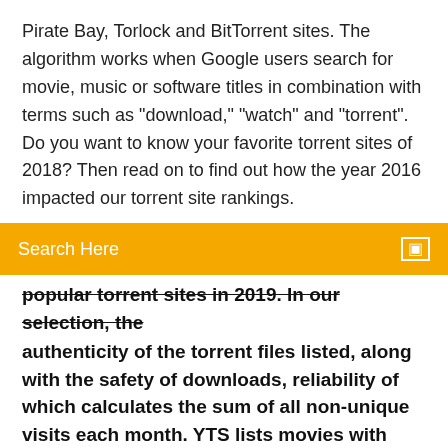Pirate Bay, Torlock and BitTorrent sites. The algorithm works when Google users search for movie, music or software titles in combination with terms such as "download," "watch" and "torrent". Do you want to know your favorite torrent sites of 2018? Then read on to find out how the year 2016 impacted our torrent site rankings.
Search Here
popular torrent sites in 2019. In our selection, the authenticity of the torrent files listed, along with the safety of downloads, reliability of which calculates the sum of all non-unique visits each month. YTS lists movies with excellent video quality and seems to have
LimeTorrents is one of those websites to download movies for free without Also ranked #1 in What are the best torrent sites to download Dutch TV shows. Oct 21, 2019 Are you looking for torrent sites for downloading music, movies, and more? We have listed the best unknown torrent websites to download free